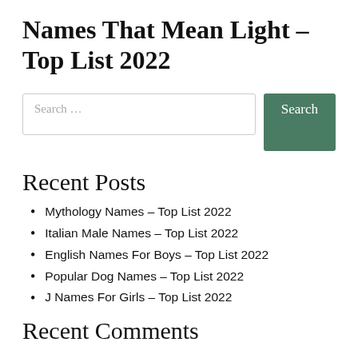Names That Mean Light – Top List 2022
Search …
Recent Posts
Mythology Names – Top List 2022
Italian Male Names – Top List 2022
English Names For Boys – Top List 2022
Popular Dog Names – Top List 2022
J Names For Girls – Top List 2022
Recent Comments